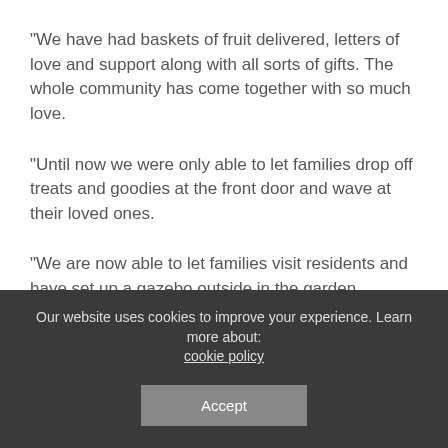“We have had baskets of fruit delivered, letters of love and support along with all sorts of gifts. The whole community has come together with so much love.
“Until now we were only able to let families drop off treats and goodies at the front door and wave at their loved ones.
“We are now able to let families visit residents and have set up a gazebo outside in the garden.
“The plan now is to use one room inside the home where we are going to install a glass partition. It will mean we have a safe indoor environment so families can visit without having to use
Our website uses cookies to improve your experience. Learn more about: cookie policy
Accept